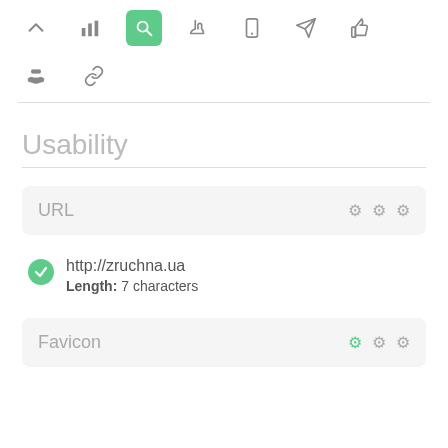[Figure (screenshot): Toolbar with navigation icons: up arrow, bar chart, magnifier (active/green), hand pointer, mobile, send/rocket, thumbs up, then second row with people group and link icons]
Usability
URL  ⚙ ⚙ ⚙
http://zruchna.ua
Length: 7 characters
Favicon  ⚙ ⚙ ⚙